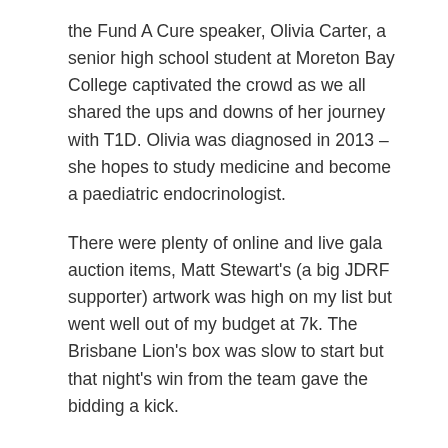the Fund A Cure speaker, Olivia Carter, a senior high school student at Moreton Bay College captivated the crowd as we all shared the ups and downs of her journey with T1D. Olivia was diagnosed in 2013 – she hopes to study medicine and become a paediatric endocrinologist.
There were plenty of online and live gala auction items, Matt Stewart's (a big JDRF supporter) artwork was high on my list but went well out of my budget at 7k. The Brisbane Lion's box was slow to start but that night's win from the team gave the bidding a kick.
I won the online gala auction for two people to climb the Story Bridge. Funny thing is, I watch them climb it most days from my bedroom window! I've been meaning to give it a go for ages so it was perfect that I could support JDRF at the same time.